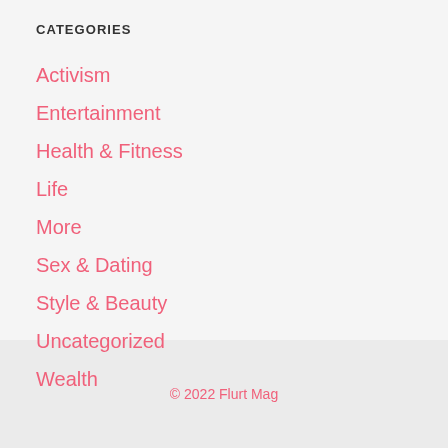CATEGORIES
Activism
Entertainment
Health & Fitness
Life
More
Sex & Dating
Style & Beauty
Uncategorized
Wealth
© 2022 Flurt Mag